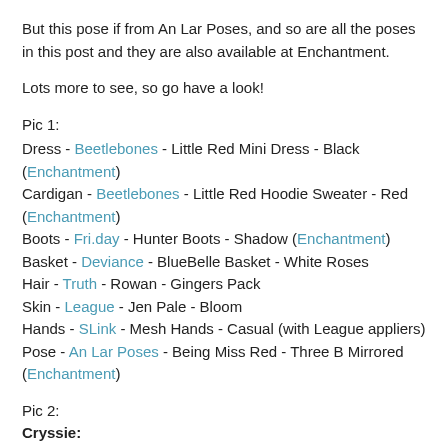But this pose if from An Lar Poses, and so are all the poses in this post and they are also available at Enchantment.
Lots more to see, so go have a look!
Pic 1:
Dress - Beetlebones - Little Red Mini Dress - Black (Enchantment)
Cardigan - Beetlebones - Little Red Hoodie Sweater - Red (Enchantment)
Boots - Fri.day - Hunter Boots - Shadow (Enchantment)
Basket - Deviance - BlueBelle Basket - White Roses
Hair - Truth - Rowan - Gingers Pack
Skin - League - Jen Pale - Bloom
Hands - SLink - Mesh Hands - Casual (with League appliers)
Pose - An Lar Poses - Being Miss Red - Three B Mirrored (Enchantment)
Pic 2:
Cryssie:
As in Pic 1 (see above)
Olly: